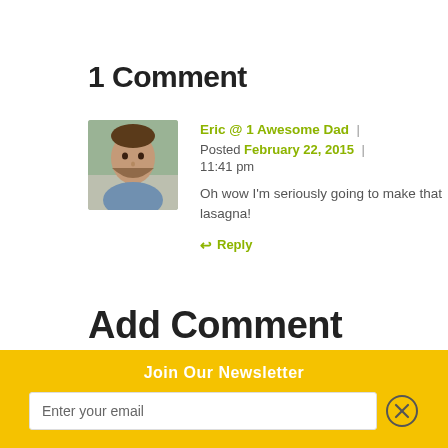1 Comment
[Figure (photo): Profile photo of a smiling man with a beard, outdoors background]
Eric @ 1 Awesome Dad | Posted February 22, 2015 | 11:41 pm
Oh wow I'm seriously going to make that lasagna!
↩ Reply
Add Comment
Join Our Newsletter
Enter your email